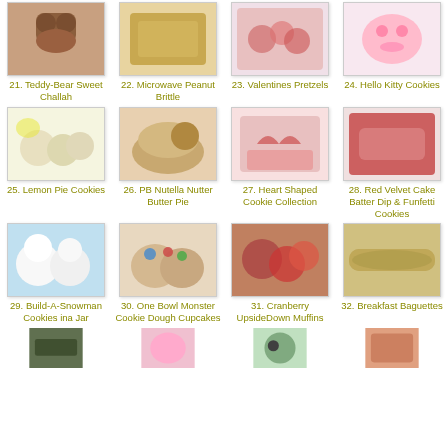[Figure (photo): Food photo thumbnail]
21. Teddy-Bear Sweet Challah
[Figure (photo): Food photo thumbnail]
22. Microwave Peanut Brittle
[Figure (photo): Food photo thumbnail]
23. Valentines Pretzels
[Figure (photo): Food photo thumbnail]
24. Hello Kitty Cookies
[Figure (photo): Food photo thumbnail]
25. Lemon Pie Cookies
[Figure (photo): Food photo thumbnail]
26. PB Nutella Nutter Butter Pie
[Figure (photo): Food photo thumbnail]
27. Heart Shaped Cookie Collection
[Figure (photo): Food photo thumbnail]
28. Red Velvet Cake Batter Dip & Funfetti Cookies
[Figure (photo): Food photo thumbnail]
29. Build-A-Snowman Cookies ina Jar
[Figure (photo): Food photo thumbnail]
30. One Bowl Monster Cookie Dough Cupcakes
[Figure (photo): Food photo thumbnail]
31. Cranberry UpsideDown Muffins
[Figure (photo): Food photo thumbnail]
32. Breakfast Baguettes
[Figure (photo): Food photo thumbnail (partial)]
[Figure (photo): Food photo thumbnail (partial)]
[Figure (photo): Food photo thumbnail (partial)]
[Figure (photo): Food photo thumbnail (partial)]